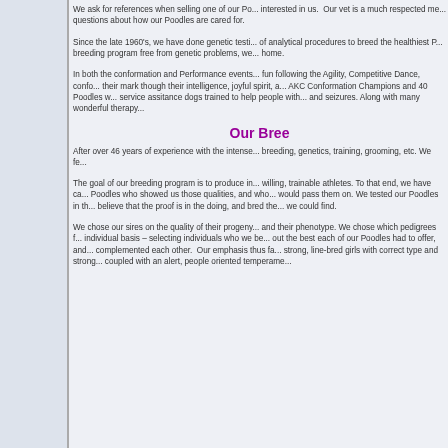We ask for references when selling one of our Po... interested in us. Our vet is a much respected me... questions about how our Poodles are cared for.
Since the late 1960's, we have done genetic testi... of analytical procedures to breed the healthiest P... breeding program free from genetic problems, we... home.
In both the conformation and Performance events... fun following the Agility, Competitive Dance, confo... their mark though their intelligence, joyful spirit, a... AKC Conformation Champions and 40 Poodles w... service assitance dogs trained to help people with... and seizures. Along with many wonderful therapy...
Our Bree
After over 46 years of experience with the intense... breeding, genetics, training, grooming, etc. We fe...
The goal of our breeding program is to produce in... willing, trainable athletes. To that end, we have ca... Poodles who showed us those qualities, and who... would pass them on. We tested our Poodles in th... believe that the proof is in the doing, and bred the... we could find.
We chose our sires on the quality of their progeny... and their phenotype. We chose which pedigrees f... individual basis – selecting individuals who we be... out the best each of our Poodles had to offer, and... complemented each other. Our emphasis thus fa... strong, line-bred girls with correct type and strong... coupled with an alert, people oriented temperame...